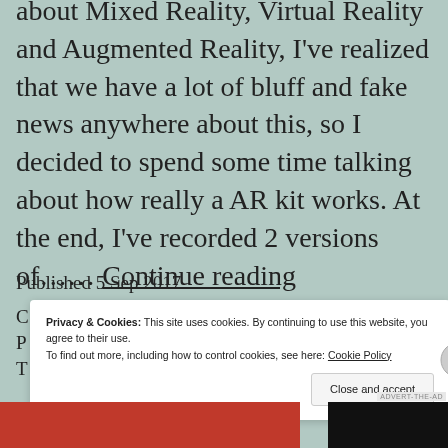about Mixed Reality, Virtual Reality and Augmented Reality, I've realized that we have a lot of bluff and fake news anywhere about this, so I decided to spend some time talking about how really a AR kit works. At the end, I've recorded 2 versions of…… Continue reading
Published 5 Sep 2017
C…
P…  —
T…
Privacy & Cookies: This site uses cookies. By continuing to use this website, you agree to their use. To find out more, including how to control cookies, see here: Cookie Policy
Close and accept